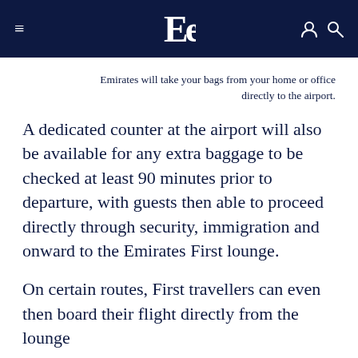≡  Ee  (user icon) (search icon)
Emirates will take your bags from your home or office directly to the airport.
A dedicated counter at the airport will also be available for any extra baggage to be checked at least 90 minutes prior to departure, with guests then able to proceed directly through security, immigration and onward to the Emirates First lounge.
On certain routes, First travellers can even then board their flight directly from the lounge